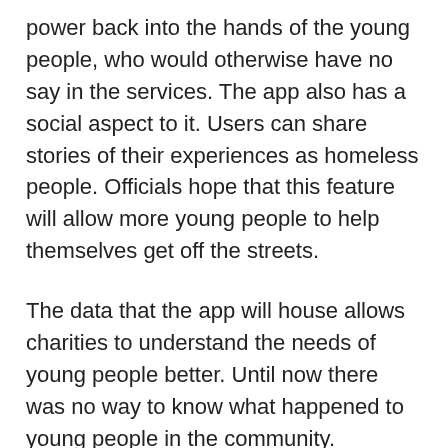power back into the hands of the young people, who would otherwise have no say in the services. The app also has a social aspect to it. Users can share stories of their experiences as homeless people. Officials hope that this feature will allow more young people to help themselves get off the streets.
The data that the app will house allows charities to understand the needs of young people better. Until now there was no way to know what happened to young people in the community. Charities can use the new information to their advantage, offering better social support systems. By always improving their services, charities can aim to keep more young people off the streets than ever before. If the apps works well, officials believe that there will be more developments of this kind in